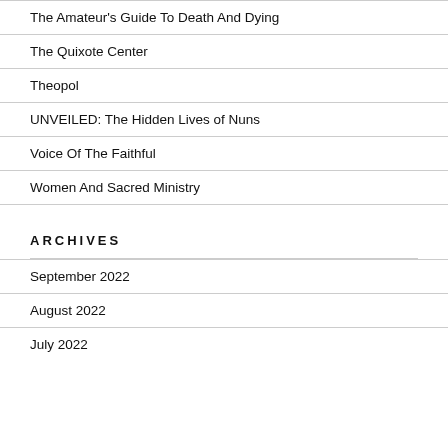The Amateur's Guide To Death And Dying
The Quixote Center
Theopol
UNVEILED: The Hidden Lives of Nuns
Voice Of The Faithful
Women And Sacred Ministry
ARCHIVES
September 2022
August 2022
July 2022